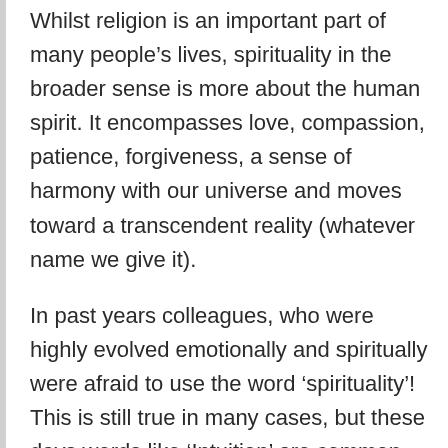Whilst religion is an important part of many people's lives, spirituality in the broader sense is more about the human spirit. It encompasses love, compassion, patience, forgiveness, a sense of harmony with our universe and moves toward a transcendent reality (whatever name we give it).
In past years colleagues, who were highly evolved emotionally and spiritually were afraid to use the word ‘spirituality’! This is still true in many cases, but these days words like ‘Intuition’ are common place. Creativity. Right-brained thinking.  Even ‘Consciousness’ and ‘transcendent reality’. If you haven’t